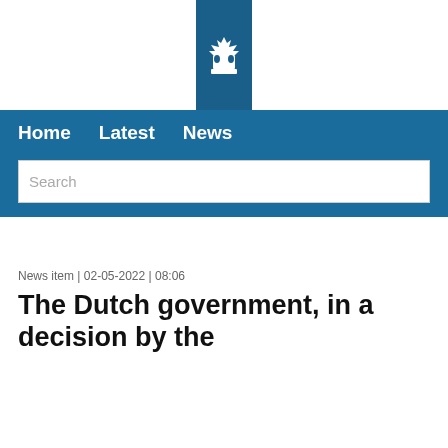[Figure (logo): Dutch government coat of arms logo on dark blue vertical banner]
Home   Latest   News
Search
News item | 02-05-2022 | 08:06
The Dutch government, in a decision by the